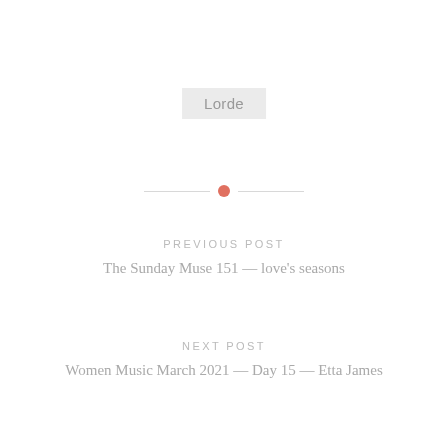Lorde
[Figure (other): Horizontal divider with a coral/salmon colored dot in the center flanked by thin gray lines]
PREVIOUS POST
The Sunday Muse 151 — love's seasons
NEXT POST
Women Music March 2021 — Day 15 — Etta James